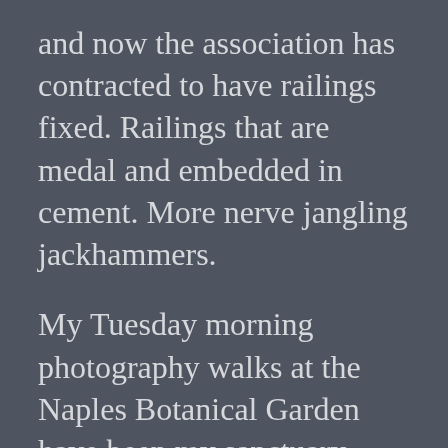and now the association has contracted to have railings fixed. Railings that are medal and embedded in cement. More nerve jangling jackhammers.
My Tuesday morning photography walks at the Naples Botanical Garden have been my sanctuary from the assault on my senses. Fibromyalgia, in part, involves a